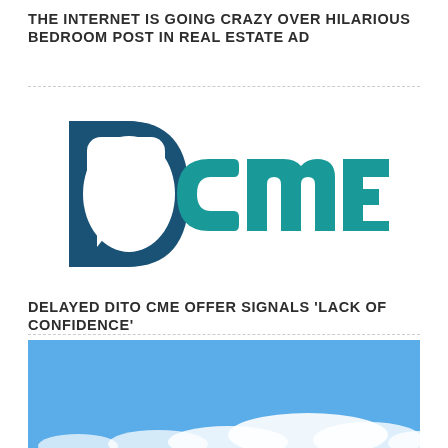THE INTERNET IS GOING CRAZY OVER HILARIOUS BEDROOM POST IN REAL ESTATE AD
[Figure (logo): DCME logo — large stylized text logo with dark blue 'D' containing a chat bubble cutout on the left, followed by teal/green letters 'c', 'm', 'e' in bold rounded sans-serif style]
DELAYED DITO CME OFFER SIGNALS 'LACK OF CONFIDENCE'
[Figure (photo): Blue sky with white clouds at the bottom, partial sky scene]